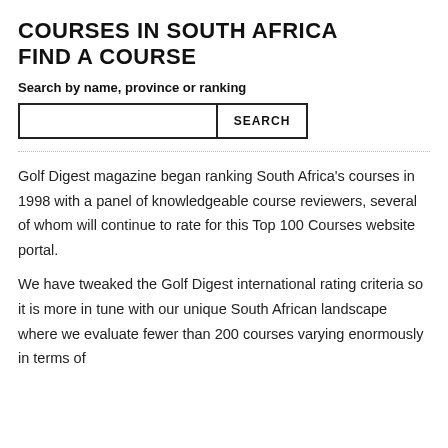COURSES IN SOUTH AFRICA
FIND A COURSE
Search by name, province or ranking
[Figure (other): Search input box with a SEARCH button]
Golf Digest magazine began ranking South Africa's courses in 1998 with a panel of knowledgeable course reviewers, several of whom will continue to rate for this Top 100 Courses website portal.
We have tweaked the Golf Digest international rating criteria so it is more in tune with our unique South African landscape where we evaluate fewer than 200 courses varying enormously in terms of